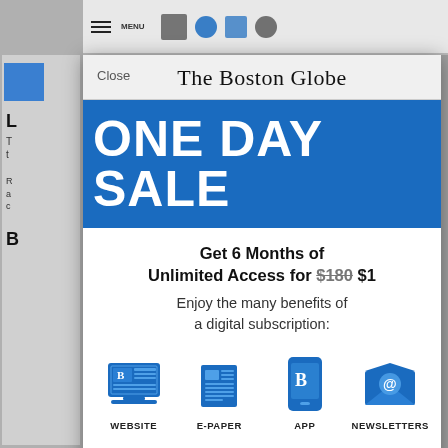[Figure (screenshot): Screenshot of The Boston Globe website subscription modal overlay on a news article page]
The Boston Globe
ONE DAY SALE
Get 6 Months of Unlimited Access for $180 $1
Enjoy the many benefits of a digital subscription:
[Figure (infographic): Four blue icons: WEBSITE (laptop with Boston Globe), E-PAPER (newspaper), APP (smartphone with Boston Globe), NEWSLETTERS (envelope with @ symbol)]
WEBSITE   E-PAPER   APP   NEWSLETTERS